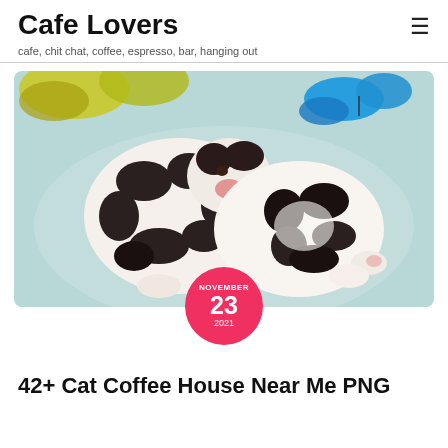Cafe Lovers
cafe, chit chat, coffee, espresso, bar, hanging out
[Figure (photo): Two newborn black and white spotted puppies curled together on a light blue surface, with colorful butterfly decorations in the background]
NOVEMBER 23 2021
42+ Cat Coffee House Near Me PNG